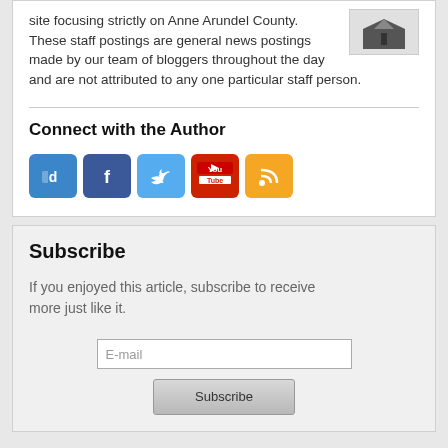site focusing strictly on Anne Arundel County. These staff postings are general news postings made by our team of bloggers throughout the day and are not attributed to any one particular staff person.
[Figure (logo): Small logo with arrow/bookmark shape]
Connect with the Author
[Figure (infographic): Row of five social media icons: Digg, Facebook, Twitter, YouTube, RSS]
Subscribe
If you enjoyed this article, subscribe to receive more just like it.
E-mail
Subscribe